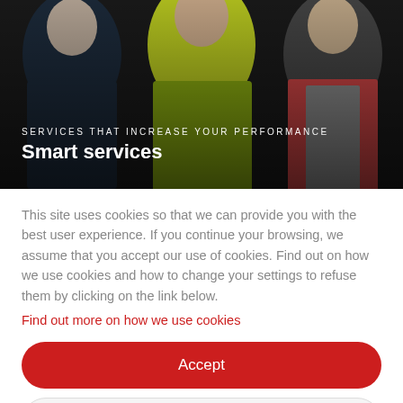[Figure (photo): Hero image showing people wearing workwear/high-visibility jackets. Overlaid with dark gradient. Contains text overlay: 'SERVICES THAT INCREASE YOUR PERFORMANCE' and 'Smart services'.]
Smart services
This site uses cookies so that we can provide you with the best user experience. If you continue your browsing, we assume that you accept our use of cookies. Find out on how we use cookies and how to change your settings to refuse them by clicking on the link below.
Find out more on how we use cookies
Accept
Deny all